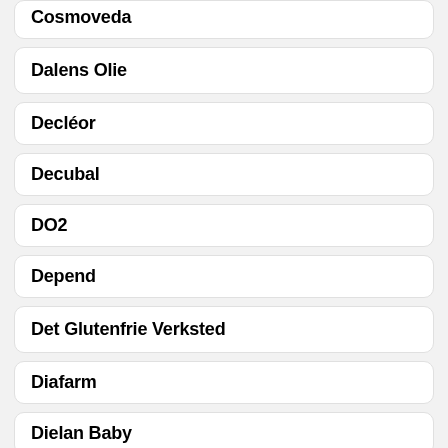Cosmoveda
Dalens Olie
Decléor
Decubal
DO2
Depend
Det Glutenfrie Verksted
Diafarm
Dielan Baby